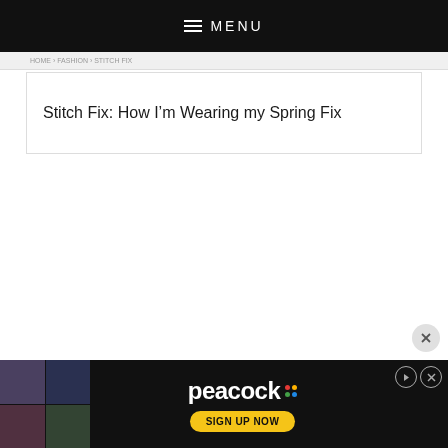MENU
Stitch Fix: How I'm Wearing my Spring Fix
[Figure (screenshot): Peacock streaming service advertisement banner with 'SIGN UP NOW' button and colorful dot logo, overlaid on dark background with TV show thumbnails on left side]